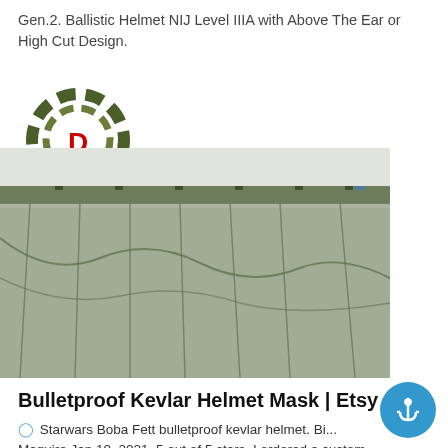Gen.2. Ballistic Helmet NIJ Level IIIA with Above The Ear or High Cut Design.
[Figure (logo): Deekon brand logo: circular camouflage target with red D in center, red DEEKON text below]
[Figure (photo): Product photo of a green mesh/net ballistic helmet mask or camouflage net panel hanging from clips against a light background, with Deekon logo overlay]
Bulletproof Kevlar Helmet Mask | Etsy
Starwars Boba Fett bulletproof kevlar helmet. Bi... Maguire Jan 10, 2021. 5 out of 5 stars. I ordered a custom level iiia helmet from Branko and I'm very happy with it.